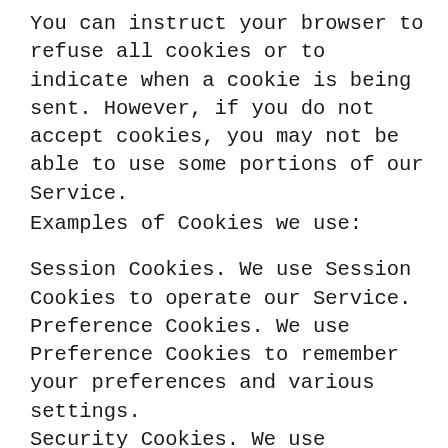You can instruct your browser to refuse all cookies or to indicate when a cookie is being sent. However, if you do not accept cookies, you may not be able to use some portions of our Service.
Examples of Cookies we use:
Session Cookies. We use Session Cookies to operate our Service.
Preference Cookies. We use Preference Cookies to remember your preferences and various settings.
Security Cookies. We use Security